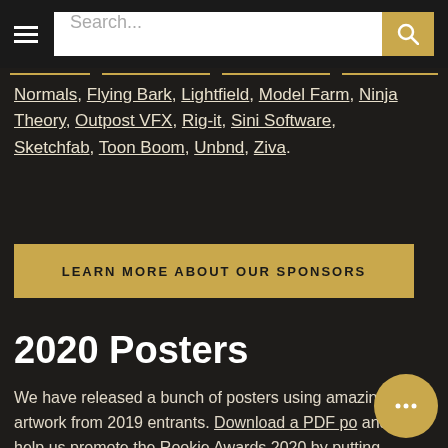Search...
Normals, Flying Bark, Lightfield, Model Farm, Ninja Theory, Outpost VFX, Rig-it, Sini Software, Sketchfab, Toon Boom, Unbnd, Ziva.
LEARN MORE ABOUT OUR SPONSORS
2020 Posters
We have released a bunch of posters using amazing artwork from 2019 entrants. Download a PDF po... and help us promote the Rookie Awards 2020 by putting them up around your school, public